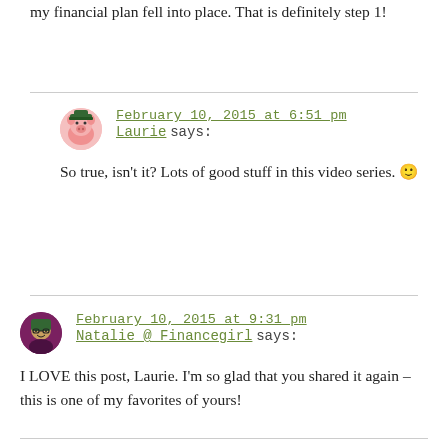my financial plan fell into place. That is definitely step 1!
February 10, 2015 at 6:51 pm
Laurie says:
So true, isn't it? Lots of good stuff in this video series. 🙂
February 10, 2015 at 9:31 pm
Natalie @ Financegirl says:
I LOVE this post, Laurie. I'm so glad that you shared it again – this is one of my favorites of yours!